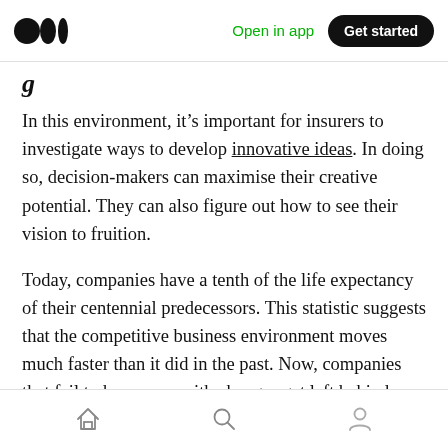Open in app | Get started
In this environment, it's important for insurers to investigate ways to develop innovative ideas. In doing so, decision-makers can maximise their creative potential. They can also figure out how to see their vision to fruition.
Today, companies have a tenth of the life expectancy of their centennial predecessors. This statistic suggests that the competitive business environment moves much faster than it did in the past. Now, companies that fail to keep pace with changes get left behind.
Home | Search | Profile